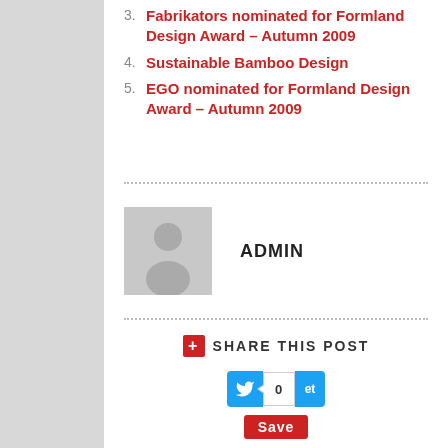Fabrikators nominated for Formland Design Award – Autumn 2009
Sustainable Bamboo Design
EGO nominated for Formland Design Award – Autumn 2009
ADMIN
SHARE THIS POST
0
Save